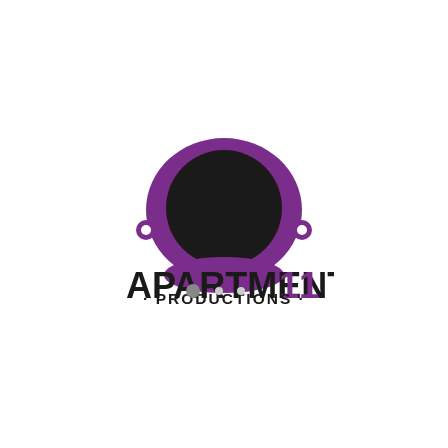[Figure (logo): Apartment 11 Productions logo: a purple astronaut helmet shape with a large black circle (visor) in the center and two small circular bolts on the sides, with the text 'APARTMENT 11' in large bold black letters and '11' in purple, and '· PRODUCTIONS ·' in smaller bold black letters below]
[Figure (other): Three small pagination dots: one filled gray circle and two smaller lighter dots to its right]